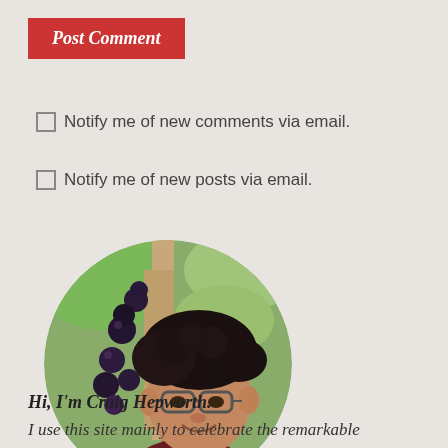Post Comment
Notify me of new comments via email.
Notify me of new posts via email.
[Figure (photo): Circular profile photo of Craig Hepworth, a man with curly dark hair and glasses, smiling, standing near a tree with large dark purple fruit (jaboticaba), wearing a dark red shirt, green foliage in background.]
Hi, I'm Craig Hepworth.
I use this site mainly to celebrate the remarkable